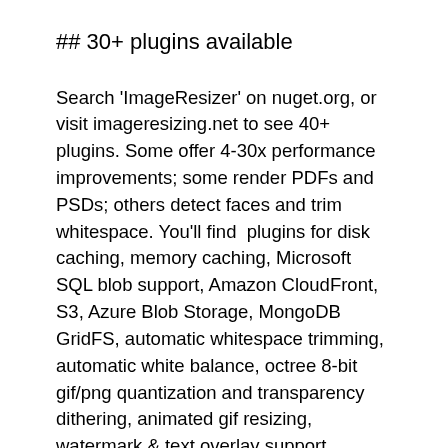## 30+ plugins available
Search 'ImageResizer' on nuget.org, or visit imageresizing.net to see 40+ plugins. Some offer 4-30x performance improvements; some render PDFs and PSDs; others detect faces and trim whitespace. You'll find  plugins for disk caching, memory caching, Microsoft SQL blob support, Amazon CloudFront, S3, Azure Blob Storage, MongoDB GridFS, automatic whitespace trimming, automatic white balance, octree 8-bit gif/png quantization and transparency dithering, animated gif resizing, watermark & text overlay support, content aware image resizing / seam carving (based on CAIR), grayscale, sepia, histogram, alpha, contrast, saturation, brightness, hue, Guassian blur, noise removal, and smart sharpen filters, psd editing & rendering, raw (CR2, NEF, DNG, etc.) file exposure, .webp (weppy) support, image batch processing & compression into .zip archives, red eye auto-correction,